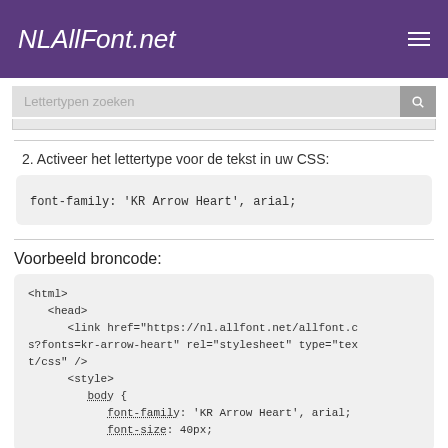NLAllFont.net
Lettertypen zoeken
2. Activeer het lettertype voor de tekst in uw CSS:
font-family: 'KR Arrow Heart', arial;
Voorbeeld broncode:
<html>
   <head>
      <link href="https://nl.allfont.net/allfont.css?fonts=kr-arrow-heart" rel="stylesheet" type="text/css" />
      <style>
         body {
            font-family: 'KR Arrow Heart', arial;
            font-size: 40px;